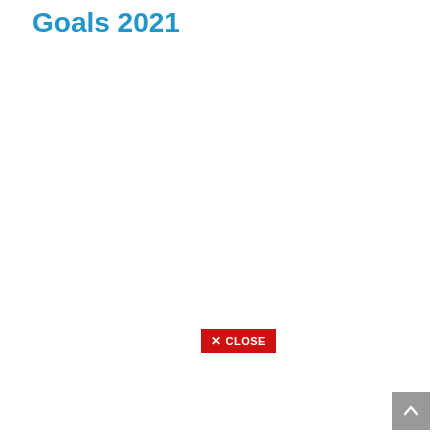Goals 2021
[Figure (screenshot): A red CLOSE button with an X icon, appearing as a UI overlay element]
[Figure (other): A gray scroll-to-top button with an upward-pointing chevron arrow, positioned in the bottom-right corner]